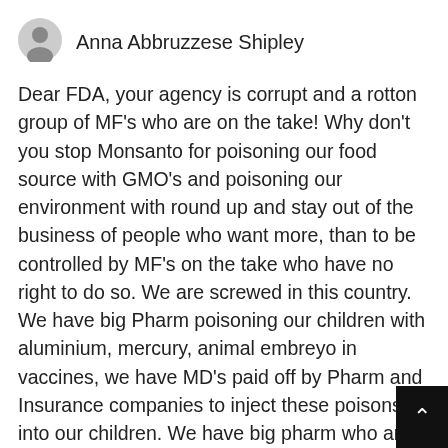[Figure (illustration): Gray circular avatar icon representing a generic user profile picture]
Anna Abbruzzese Shipley
Dear FDA, your agency is corrupt and a rotton group of MF's who are on the take! Why don't you stop Monsanto for poisoning our food source with GMO's and poisoning our environment with round up and stay out of the business of people who want more, than to be controlled by MF's on the take who have no right to do so. We are screwed in this country. We have big Pharm poisoning our children with aluminium, mercury, animal embreyo in vaccines, we have MD's paid off by Pharm and Insurance companies to inject these poisons into our children. We have big pharm who are
[Figure (illustration): Black scroll-to-top button with white upward chevron arrow in bottom right corner]